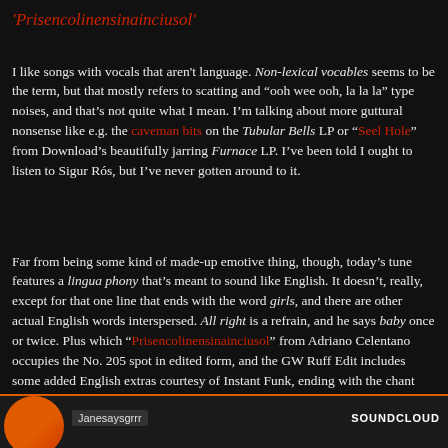'Prisencolinensinainciusol'
I like songs with vocals that aren't language. Non-lexical vocables seems to be the term, but that mostly refers to scatting and “ooh wee ooh, la la la” type noises, and that’s not quite what I mean. I’m talking about more guttural nonsense like e.g. the caveman bits on the Tubular Bells LP or “Seel Hole” from Download’s beautifully jarring Furnace LP. I’ve been told I ought to listen to Sigur Rós, but I’ve never gotten around to it.
Far from being some kind of made-up emotive thing, though, today’s tune features a lingua phony that’s meant to sound like English. It doesn’t, really, except for that one line that ends with the word girls, and there are other actual English words interspersed. All right is a refrain, and he says baby once or twice. Plus which “Prisencolinensinainciusol” from Adriano Celentano occupies the No. 205 spot in edited form, and the GW Ruff Edit includes some added English extras courtesy of Instant Funk, ending with the chant from “I Got My Mind Made Up.” Say what?
[Figure (screenshot): SoundCloud player bar at the bottom with an orange circle graphic on the left, a label reading 'Janesaysgrrr' and SOUNDCLOUD logo on the right]